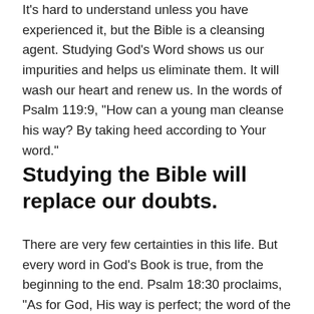It's hard to understand unless you have experienced it, but the Bible is a cleansing agent. Studying God's Word shows us our impurities and helps us eliminate them. It will wash our heart and renew us. In the words of Psalm 119:9, "How can a young man cleanse his way? By taking heed according to Your word."
Studying the Bible will replace our doubts.
There are very few certainties in this life. But every word in God's Book is true, from the beginning to the end. Psalm 18:30 proclaims, "As for God, His way is perfect; the word of the Lord is proven; He is a shield to all who trust in Him." Throughout history, many brilliant minds have tried to destroy the Bible, and they have all failed. Several ended up becoming followers of Christ because they could not deny the evidence for the Bible's historicity